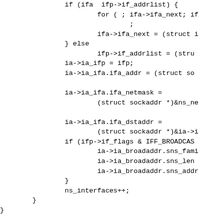if (ifa  ifp->if_addrlist) {
                for ( ; ifa->ifa_next; if
                        ;
                ifa->ifa_next = (struct i
        } else
                ifp->if_addrlist = (stru
        ia->ia_ifp = ifp;
        ia->ia_ifa.ifa_addr = (struct so

        ia->ia_ifa.ifa_netmask =
                (struct sockaddr *)&ns_ne

        ia->ia_ifa.ifa_dstaddr =
                (struct sockaddr *)&ia->i
        if (ifp->if_flags & IFF_BROADCAS
                ia->ia_broadaddr.sns_fami
                ia->ia_broadaddr.sns_len
                ia->ia_broadaddr.sns_addr
        }
        ns_interfaces++;
    }
}

switch (cmd) {
        int error;

case SIOCSIFDSTADDR:
        if ((ifp->if_flags & IFF_POINTOPOINT) ==
                return (EINVAL);
        if (ia->ia_flags & IFA_ROUTE) {
                rtinit(&(ia->ia_ifa), (int)RTM_DE